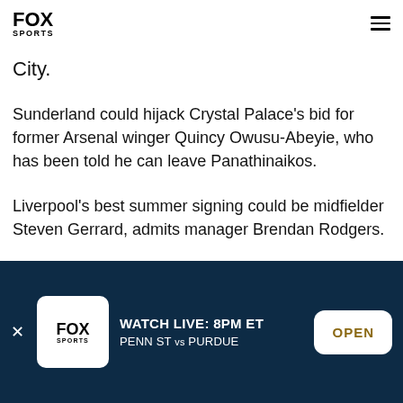FOX SPORTS
City.
Sunderland could hijack Crystal Palace's bid for former Arsenal winger Quincy Owusu-Abeyie, who has been told he can leave Panathinaikos.
Liverpool's best summer signing could be midfielder Steven Gerrard, admits manager Brendan Rodgers.
WATCH LIVE: 8PM ET PENN ST vs PURDUE OPEN